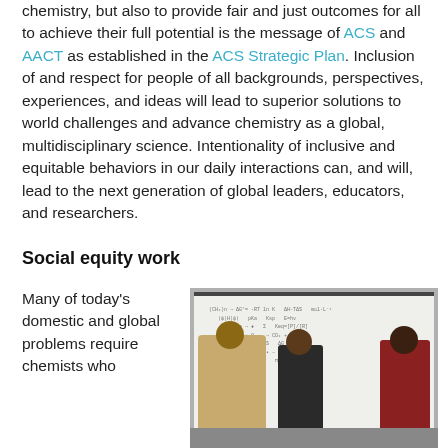chemistry, but also to provide fair and just outcomes for all to achieve their full potential is the message of ACS and AACT as established in the ACS Strategic Plan. Inclusion of and respect for people of all backgrounds, perspectives, experiences, and ideas will lead to superior solutions to world challenges and advance chemistry as a global, multidisciplinary science. Intentionality of inclusive and equitable behaviors in our daily interactions can, and will, lead to the next generation of global leaders, educators, and researchers.
Social equity work
Many of today's domestic and global problems require chemists who
[Figure (photo): Three people (students or researchers) working together at a whiteboard covered in chemical diagrams and equations. One person on the left is writing on the board while two others observe from the right.]